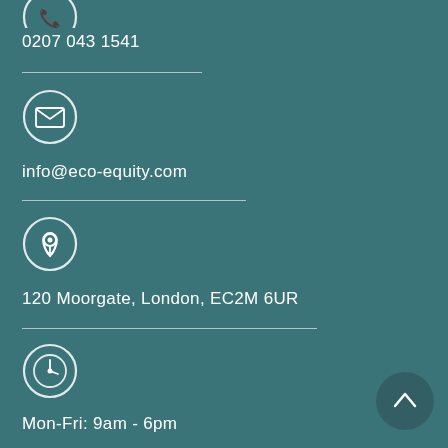[Figure (illustration): Partial circle icon at top (phone or contact icon), cropped at top edge]
0207 043 1541
[Figure (illustration): Email envelope icon in a circle]
info@eco-equity.com
[Figure (illustration): Location pin/map marker icon in a circle]
120 Moorgate, London, EC2M 6UR
[Figure (illustration): Clock icon in a circle]
Mon-Fri: 9am - 6pm